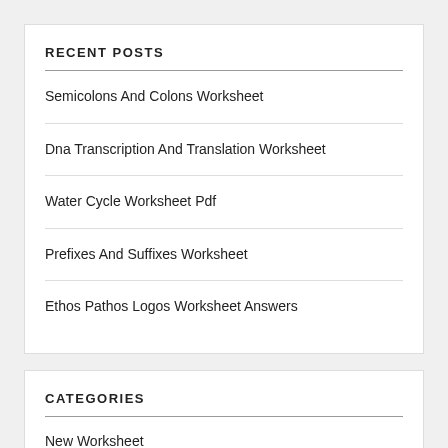RECENT POSTS
Semicolons And Colons Worksheet
Dna Transcription And Translation Worksheet
Water Cycle Worksheet Pdf
Prefixes And Suffixes Worksheet
Ethos Pathos Logos Worksheet Answers
CATEGORIES
New Worksheet